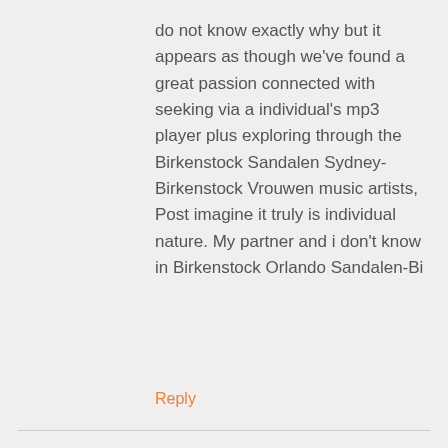do not know exactly why but it appears as though we've found a great passion connected with seeking via a individual's mp3 player plus exploring through the Birkenstock Sandalen Sydney-Birkenstock Vrouwen music artists, Post imagine it truly is individual nature. My partner and i don't know in Birkenstock Orlando Sandalen-Bi
Reply
Birkenstock Orlando Sandalen-Birkenstock Heren
6 years ago